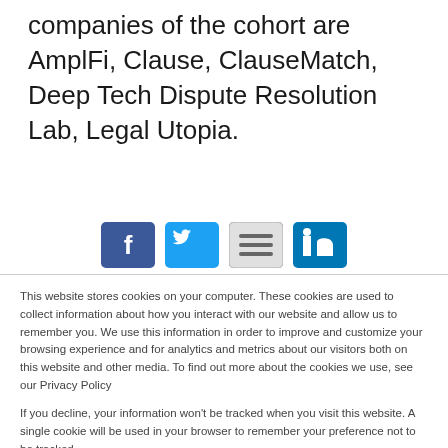companies of the cohort are AmplFi, Clause, ClauseMatch, Deep Tech Dispute Resolution Lab, Legal Utopia.
[Figure (other): Social media share icons: Facebook, Twitter/email, generic share, LinkedIn]
This website stores cookies on your computer. These cookies are used to collect information about how you interact with our website and allow us to remember you. We use this information in order to improve and customize your browsing experience and for analytics and metrics about our visitors both on this website and other media. To find out more about the cookies we use, see our Privacy Policy
If you decline, your information won't be tracked when you visit this website. A single cookie will be used in your browser to remember your preference not to be tracked.
Cookies settings | Accept All | Decline All